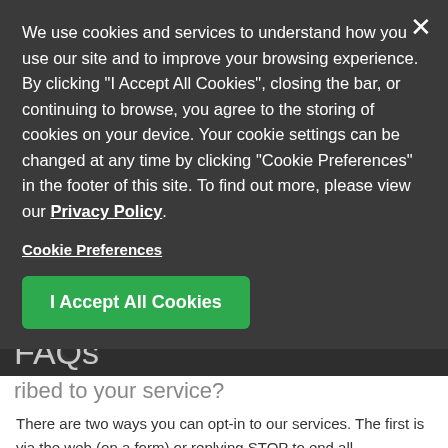We use cookies and services to understand how you use our site and to improve your browsing experience. By clicking "I Accept All Cookies", closing the bar, or continuing to browse, you agree to the storing of cookies on your device. Your cookie settings can be changed at any time by clicking "Cookie Preferences" in the footer of this site. To find out more, please view our Privacy Policy
Cookie Preferences
I Accept All Cookies
FAQs
There are two ways you can opt-in to our services. The first is via the web (on a form) or replying STOP to end all communication via text message.
The second is by sending a text to the applicable Property Management Company.
Am I being charged for these messages?